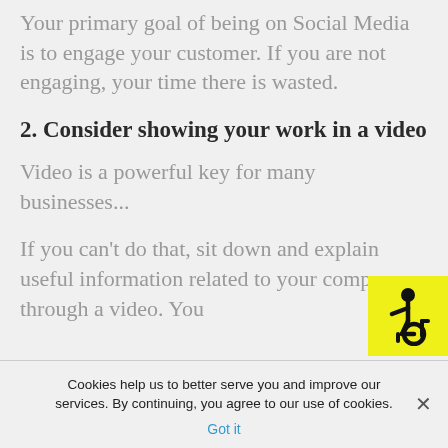Your primary goal of being on Social Media is to engage your customer. If you are not engaging, your time there is wasted.
2. Consider showing your work in a video
Video is a powerful key for many businesses...
If you can't do that, sit down and explain useful information related to your company through a video. You
[Figure (illustration): Yellow accessibility icon showing a person in a wheelchair]
Cookies help us to better serve you and improve our services. By continuing, you agree to our use of cookies.
Got it